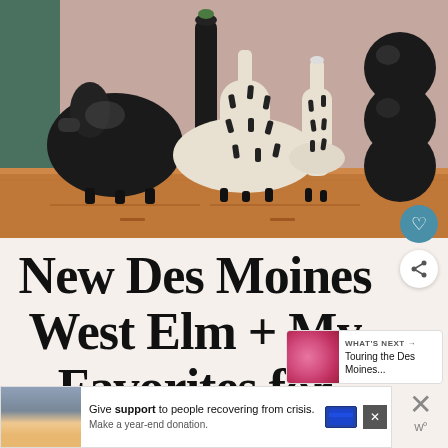[Figure (photo): Black and white ceramic vases arranged on a wooden dresser/shelf against a dusty pink wall. Multiple styles: round egg-shaped on legs, tall narrow necked, wide flat-bottomed with dash markings, and triple-bubble stacked.]
New Des Moines West Elm + My Favorites for Fall
[Figure (infographic): WHAT'S NEXT callout box with pink flower image and text: Touring the Des Moines...]
[Figure (photo): Advertisement banner: Give support to people recovering from crisis. Make a year-end donation. Shows two people embracing.]